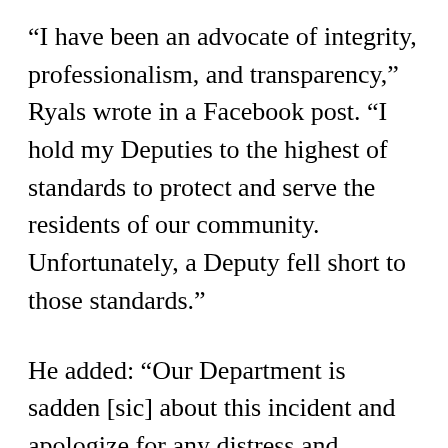“I have been an advocate of integrity, professionalism, and transparency,” Ryals wrote in a Facebook post. “I hold my Deputies to the highest of standards to protect and serve the residents of our community. Unfortunately, a Deputy fell short to those standards.”
He added: “Our Department is sadden [sic] about this incident and apologize for any distress and disappointment this incident has caused anyone who was affected by this disheartening event. We will keep Reeses in our thoughts through the recovery process.”